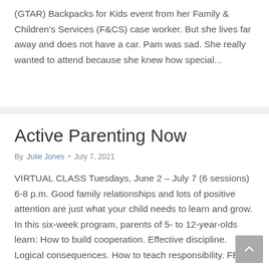(GTAR) Backpacks for Kids event from her Family & Children's Services (F&CS) case worker. But she lives far away and does not have a car. Pam was sad. She really wanted to attend because she knew how special...
Active Parenting Now
By Julie Jones • July 7, 2021
VIRTUAL CLASS Tuesdays, June 2 – July 7 (6 sessions) 6-8 p.m. Good family relationships and lots of positive attention are just what your child needs to learn and grow. In this six-week program, parents of 5- to 12-year-olds learn: How to build cooperation. Effective discipline. Logical consequences. How to teach responsibility. FEE